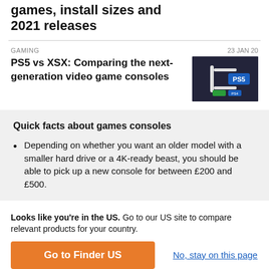games, install sizes and 2021 releases
GAMING    23 JAN 20
PS5 vs XSX: Comparing the next-generation video game consoles
[Figure (photo): PS5 console promotional image with PS5 logo on dark background]
Quick facts about games consoles
Depending on whether you want an older model with a smaller hard drive or a 4K-ready beast, you should be able to pick up a new console for between £200 and £500.
Looks like you're in the US. Go to our US site to compare relevant products for your country.
Go to Finder US
No, stay on this page